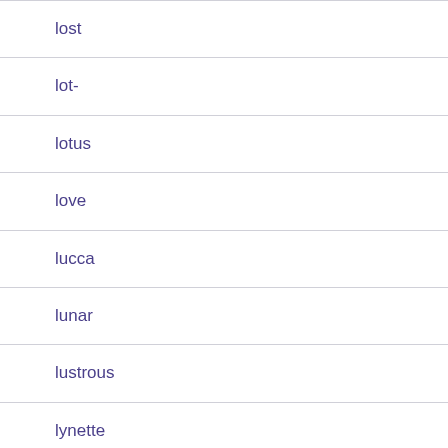lost
lot-
lotus
love
lucca
lunar
lustrous
lynette
macquarie
mado